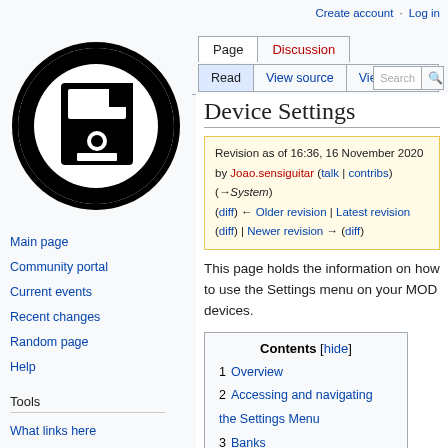Create account  Log in
[Figure (logo): MOD Devices wiki logo — circular black icon with stylized floppy disk symbol]
Main page
Community portal
Current events
Recent changes
Random page
Help
Tools
What links here
Related changes
Special pages
Printable version
Permanent link
Page information
Device Settings
Revision as of 16:36, 16 November 2020 by Joao.sensiguitar (talk | contribs) (→System) (diff) ← Older revision | Latest revision (diff) | Newer revision → (diff)
This page holds the information on how to use the Settings menu on your MOD devices.
| Contents [hide] |
| --- |
| 1  Overview |
| 2  Accessing and navigating the Settings Menu |
| 3  Banks |